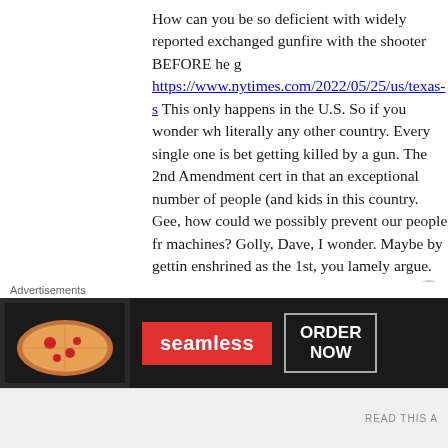How can you be so deficient with widely reported exchanged gunfire with the shooter BEFORE he g https://www.nytimes.com/2022/05/25/us/texas-s This only happens in the U.S. So if you wonder wh literally any other country. Every single one is bet getting killed by a gun. The 2nd Amendment cert in that an exceptional number of people (and kids in this country. Gee, how could we possibly prevent our people fr machines? Golly, Dave, I wonder. Maybe by gettin enshrined as the 1st, you lamely argue. Really? Te to round up those people peacefully protesting ou house. Tell that to the gun-loving goons who swar They're the ones calling the shots in the Republica we stand up to these people? Because people like
[Figure (photo): Seamless food delivery advertisement banner showing pizza slices on left, red Seamless logo in center, and ORDER NOW button on right, on dark background]
READ THIS A...